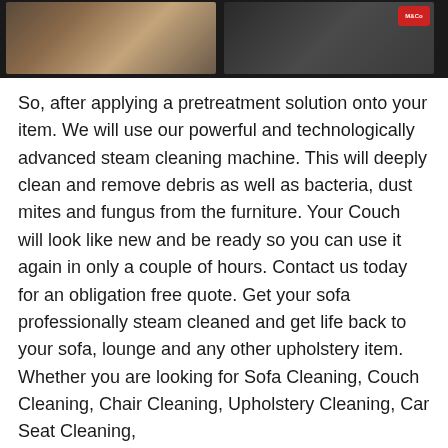[Figure (photo): Dark banner with two photos side by side on dark background; left shows food/pizza, right shows a person with a small red badge/logo in corner]
So, after applying a pretreatment solution onto your item. We will use our powerful and technologically advanced steam cleaning machine. This will deeply clean and remove debris as well as bacteria, dust mites and fungus from the furniture. Your Couch will look like new and be ready so you can use it again in only a couple of hours. Contact us today for an obligation free quote. Get your sofa professionally steam cleaned and get life back to your sofa, lounge and any other upholstery item. Whether you are looking for Sofa Cleaning, Couch Cleaning, Chair Cleaning, Upholstery Cleaning, Car Seat Cleaning,
M&Co is the best option for you. M&Co serves from Mandurah to Yanchep seven days a week from 7am to 9pm. Feel free to inquire now in case you need an emergency service. 0424078881